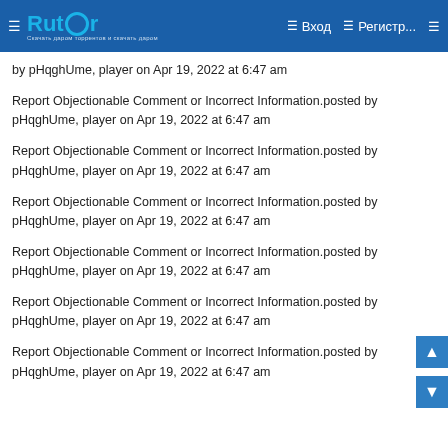Rutor | Вход | Регистр...
by pHqghUme, player on Apr 19, 2022 at 6:47 am
Report Objectionable Comment or Incorrect Information.posted by pHqghUme, player on Apr 19, 2022 at 6:47 am
Report Objectionable Comment or Incorrect Information.posted by pHqghUme, player on Apr 19, 2022 at 6:47 am
Report Objectionable Comment or Incorrect Information.posted by pHqghUme, player on Apr 19, 2022 at 6:47 am
Report Objectionable Comment or Incorrect Information.posted by pHqghUme, player on Apr 19, 2022 at 6:47 am
Report Objectionable Comment or Incorrect Information.posted by pHqghUme, player on Apr 19, 2022 at 6:47 am
Report Objectionable Comment or Incorrect Information.posted by pHqghUme, player on Apr 19, 2022 at 6:47 am